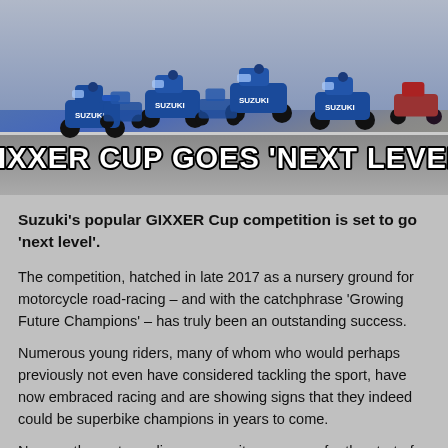[Figure (photo): Group of motorcycle racers on blue Suzuki bikes racing on a track, with overlay text 'GIXXER CUP GOES ‘NEXT LEVEL’' in white bold letters with black outline]
Suzuki’s popular GIXXER Cup competition is set to go ‘next level’.
The competition, hatched in late 2017 as a nursery ground for motorcycle road-racing – and with the catchphrase ‘Growing Future Champions’ – has truly been an outstanding success.
Numerous young riders, many of whom who would perhaps previously not even have considered tackling the sport, have now embraced racing and are showing signs that they indeed could be superbike champions in years to come.
Now, as the motorcycling community warms up for the start of the 2019-20 season, the GIXXER Cup competition has received a massive boost.